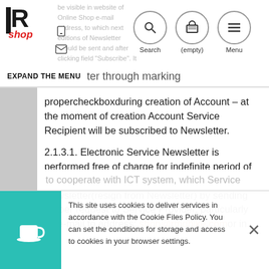be visible in website of Online Shop e-mail address, to which next editions of Newsletter should be sent and after clicking field "Subscribe". It is possible also to subscribe to
ter through marking propercheckboxduring creation of Account – at the moment of creation Account Service Recipient will be subscribed to Newsletter.
2.1.3.1. Electronic Service Newsletter is performed free of charge for indefinite period of time. Service Recipient can unsubscribe from Newsletter(resign from Newsletter) by sending proper request to Service Provider, particularly by e-mail to address: shop@rmdbike.com or in
This site uses cookies to deliver services in accordance with the Cookie Files Policy. You can set the conditions for storage and access to cookies in your browser settings.
to cooperate with ICT system, which Service